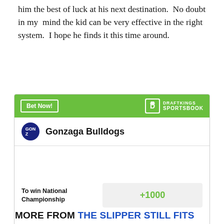him the best of luck at his next destination.  No doubt in my  mind the kid can be very effective in the right system.  I hope he finds it this time around.
[Figure (infographic): DraftKings Sportsbook widget showing Gonzaga Bulldogs odds to win National Championship at +1000]
MORE FROM THE SLIPPER STILL FITS